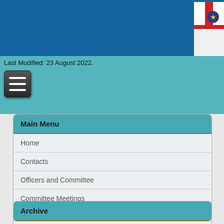[Figure (screenshot): Blue website header bar with flag logo in top right corner]
Last Modified: 23 August 2022.
[Figure (other): Hamburger menu button (three horizontal lines on dark rounded square)]
Main Menu
Home
Contacts
Officers and Committee
Committee Meetings
Club Moorings
Fleet
Joining EACC
Archive